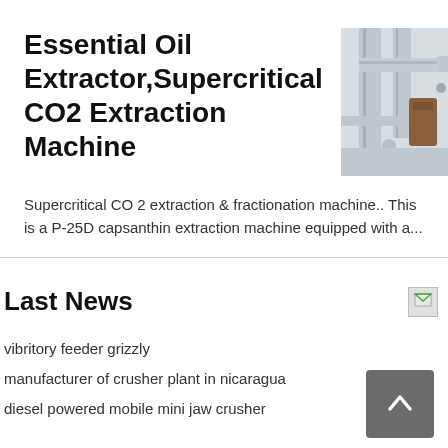Essential Oil Extractor,Supercritical CO2 Extraction Machine
[Figure (photo): Industrial supercritical CO2 extraction machine with pipes and tanks]
Supercritical CO 2 extraction & fractionation machine.. This is a P-25D capsanthin extraction machine equipped with a...
Last News
vibritory feeder grizzly
manufacturer of crusher plant in nicaragua
diesel powered mobile mini jaw crusher